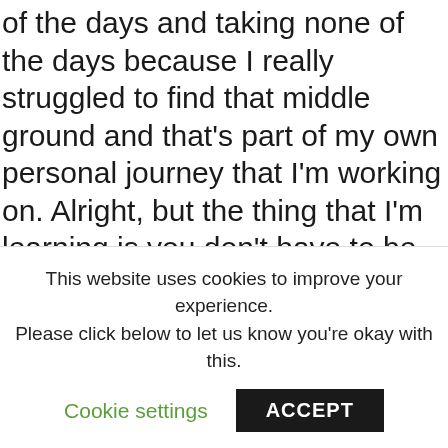of the days and taking none of the days because I really struggled to find that middle ground and that's part of my own personal journey that I'm working on. Alright, but the thing that I'm learning is you don't have to be the hero. It's okay to take care of yourself. It's actually responsible, responsible business practices to take care of yourself because who is going to take Take your place if you burnout. When I push too hard, when I work too much, when I'm too stressed out, I get stress tension in my neck, well, I have a previous pinched nerve in my neck,
This website uses cookies to improve your experience. Please click below to let us know you're okay with this.
Cookie settings
ACCEPT